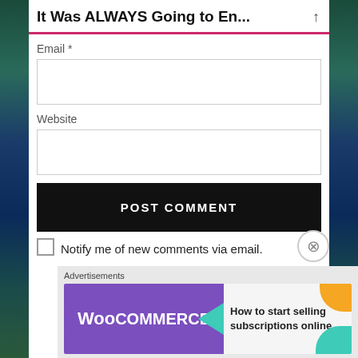It Was ALWAYS Going to En...
Email *
Website
POST COMMENT
Notify me of new comments via email.
Advertisements
[Figure (screenshot): WooCommerce advertisement banner: purple left section with WooCommerce logo and teal arrow, right section with text 'How to start selling subscriptions online' and orange/teal decorative elements]